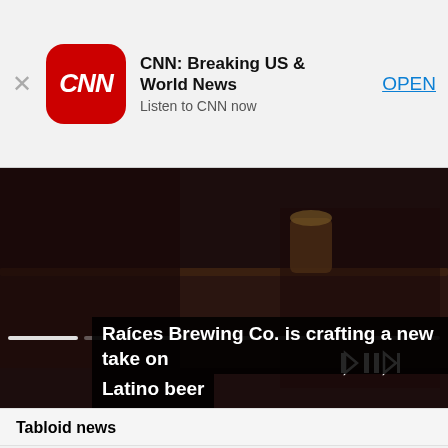[Figure (screenshot): CNN app banner with red rounded icon showing CNN logo, app title 'CNN: Breaking US & World News', subtitle 'Listen to CNN now', close X button on left, and blue OPEN button on right]
[Figure (screenshot): Video player screenshot showing people at a bar with beer glasses, media controls (rewind, pause, fast forward) and progress bar segments at bottom, with caption overlay 'Raíces Brewing Co. is crafting a new take on Latino beer']
Tabloid news
[Figure (photo): Photo of a woman with long black hair being massaged on shoulders, partial view of another image to the right]